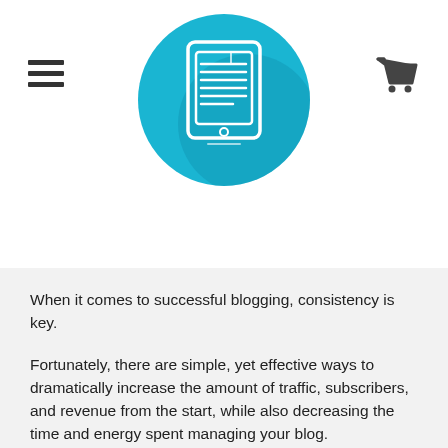[Figure (logo): Circular cyan/blue logo with a tablet device icon showing a document with lines on it]
When it comes to successful blogging, consistency is key.
Fortunately, there are simple, yet effective ways to dramatically increase the amount of traffic, subscribers, and revenue from the start, while also decreasing the time and energy spent managing your blog.
There is no better way to stay motivated and focused than by seeing results from your hard work, and that is exactly what you’re going to experience when you follow the techniques